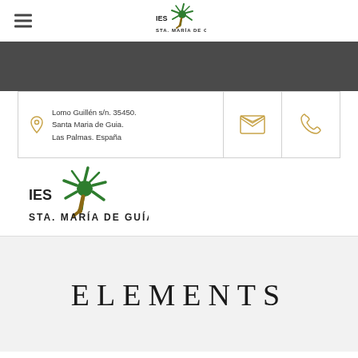IES STA. MARÍA DE GUÍA (logo navigation header)
[Figure (logo): IES Sta. María de Guía school logo with green splat graphic in top navigation bar]
Lomo Guillén s/n. 35450.
Santa Maria de Guia.
Las Palmas. España
[Figure (illustration): Golden/yellow open envelope icon]
[Figure (illustration): Golden/yellow phone handset icon]
[Figure (logo): IES Sta. María de Guía school logo larger version in footer area]
ELEMENTS